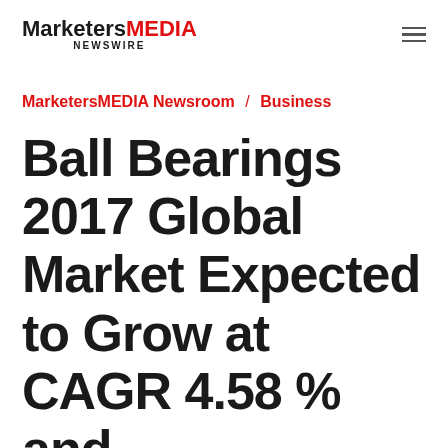MarketersMEDIA NEWSWIRE
MarketersMEDIA Newsroom / Business
Ball Bearings 2017 Global Market Expected to Grow at CAGR 4.58 % and